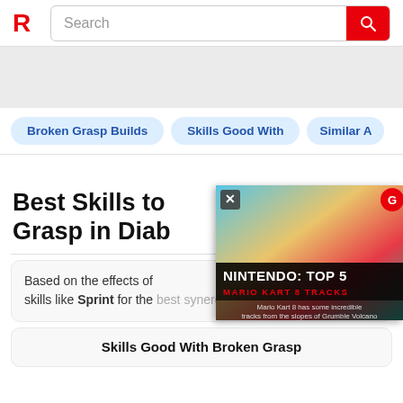R [logo] Search [search bar]
[Figure (screenshot): Gray advertisement banner area]
Broken Grasp Builds
Skills Good With
Similar A
Best Skills to [use] Grasp in Diab[lo]
Based on the effects of [Broken Grasp, we recommend] skills like Sprint for the [best synergy].
[Figure (screenshot): Video overlay showing NINTENDO: TOP 5 MARIO KART 8 TRACKS with caption: Mario Kart 8 has some incredible tracks from the slopes of Grumble Volcano]
Skills Good With Broken Grasp